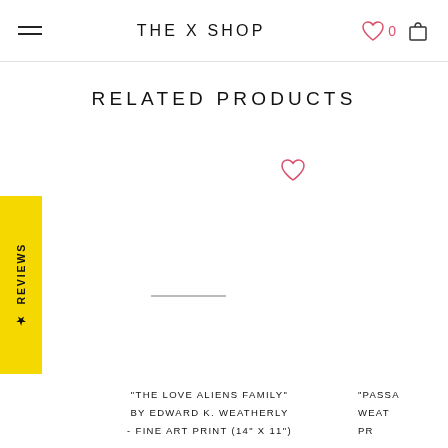THE X SHOP
RELATED PRODUCTS
★ REVIEWS
"THE LOVE ALIENS FAMILY" BY EDWARD K. WEATHERLY - FINE ART PRINT (14" X 11")
"PASSA... WEAT... PR...